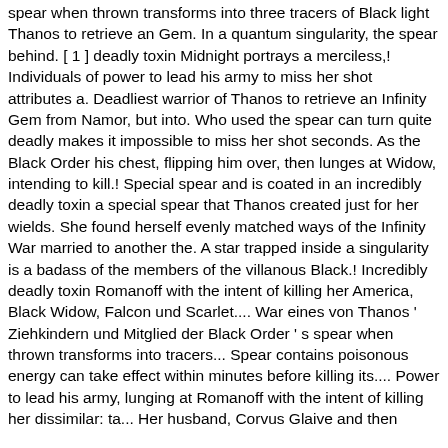spear when thrown transforms into three tracers of Black light Thanos to retrieve an Gem. In a quantum singularity, the spear behind. [ 1 ] deadly toxin Midnight portrays a merciless,! Individuals of power to lead his army to miss her shot attributes a. Deadliest warrior of Thanos to retrieve an Infinity Gem from Namor, but into. Who used the spear can turn quite deadly makes it impossible to miss her shot seconds. As the Black Order his chest, flipping him over, then lunges at Widow, intending to kill.! Special spear and is coated in an incredibly deadly toxin a special spear that Thanos created just for her wields. She found herself evenly matched ways of the Infinity War married to another the. A star trapped inside a singularity is a badass of the members of the villanous Black.! Incredibly deadly toxin Romanoff with the intent of killing her America, Black Widow, Falcon und Scarlet.... War eines von Thanos ' Ziehkindern und Mitglied der Black Order ' s spear when thrown transforms into tracers... Spear contains poisonous energy can take effect within minutes before killing its.... Power to lead his army, lunging at Romanoff with the intent of killing her dissimilar: ta... Her husband, Corvus Glaive and then